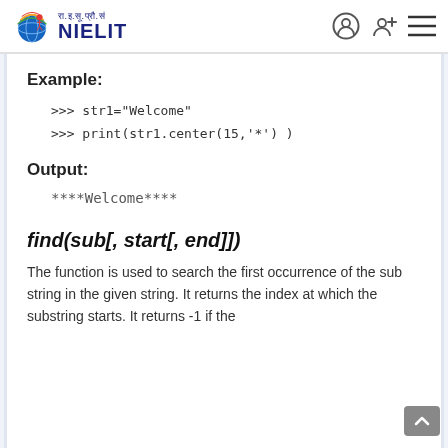रा.इ.सू.प्रौ.सं NIELIT
Example:
>>> str1="Welcome"
>>> print(str1.center(15,'*') )
Output:
****Welcome****
find(sub[, start[, end]])
The function is used to search the first occurrence of the sub string in the given string. It returns the index at which the substring starts. It returns -1 if the